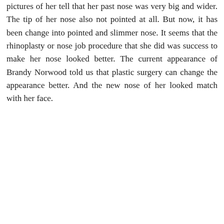pictures of her tell that her past nose was very big and wider. The tip of her nose also not pointed at all. But now, it has been change into pointed and slimmer nose. It seems that the rhinoplasty or nose job procedure that she did was success to make her nose looked better. The current appearance of Brandy Norwood told us that plastic surgery can change the appearance better. And the new nose of her looked match with her face.